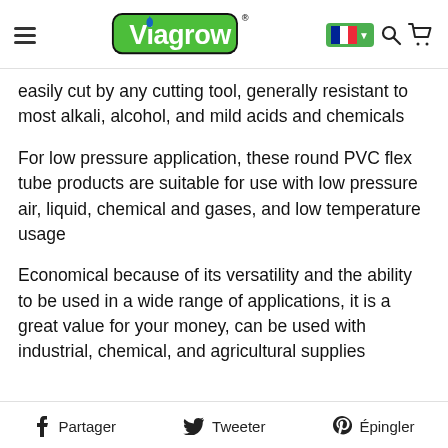Viagrow (logo) — navigation header with hamburger menu, language selector (French), search, and cart icons
easily cut by any cutting tool, generally resistant to most alkali, alcohol, and mild acids and chemicals
For low pressure application, these round PVC flex tube products are suitable for use with low pressure air, liquid, chemical and gases, and low temperature usage
Economical because of its versatility and the ability to be used in a wide range of applications, it is a great value for your money, can be used with industrial, chemical, and agricultural supplies
f Partager   Tweeter   Épingler